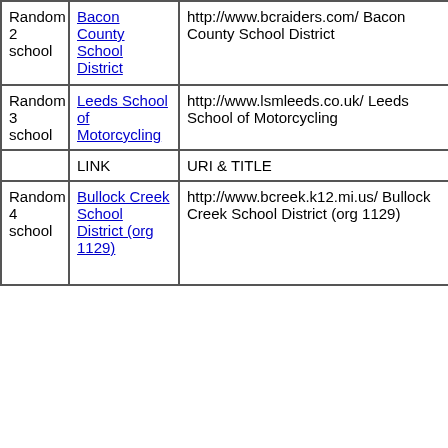|  | LINK | URI & TITLE |
| --- | --- | --- |
| Random 2 school | Bacon County School District | http://www.bcraiders.com/ Bacon County School District |
| Random 3 school | Leeds School of Motorcycling | http://www.lsmleeds.co.uk/ Leeds School of Motorcycling |
|  | LINK | URI & TITLE |
| Random 4 school | Bullock Creek School District (org 1129) | http://www.bcreek.k12.mi.us/ Bullock Creek School District (org 1129) |